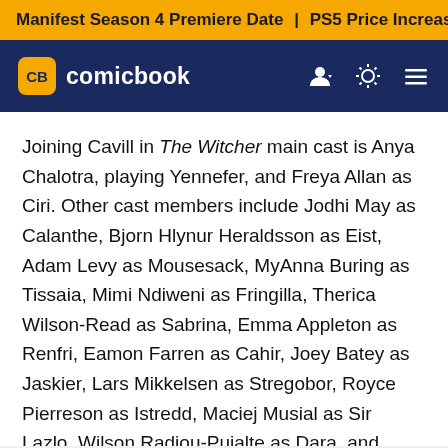Manifest Season 4 Premiere Date | PS5 Price Increase | Jon M
CB comicbook
Joining Cavill in The Witcher main cast is Anya Chalotra, playing Yennefer, and Freya Allan as Ciri. Other cast members include Jodhi May as Calanthe, Bjorn Hlynur Heraldsson as Eist, Adam Levy as Mousesack, MyAnna Buring as Tissaia, Mimi Ndiweni as Fringilla, Therica Wilson-Read as Sabrina, Emma Appleton as Renfri, Eamon Farren as Cahir, Joey Batey as Jaskier, Lars Mikkelsen as Stregobor, Royce Pierreson as Istredd, Maciej Musial as Sir Lazlo, Wilson Radiou-Pujalte as Dara, and Anna Shaffer as